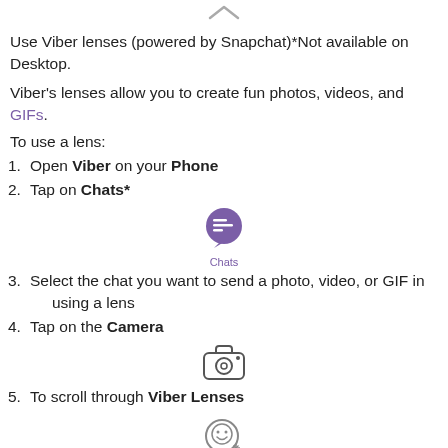[Figure (other): Upward chevron/arrow icon indicating collapse or navigation up]
Use Viber lenses (powered by Snapchat)*Not available on Desktop.
Viber's lenses allow you to create fun photos, videos, and GIFs.
To use a lens:
1. Open Viber on your Phone
2. Tap on Chats*
[Figure (illustration): Viber Chats icon — purple speech bubble with horizontal lines, labeled 'Chats']
3. Select the chat you want to send a photo, video, or GIF in using a lens
4. Tap on the Camera
[Figure (illustration): Camera icon — outline style camera]
5. To scroll through Viber Lenses
[Figure (illustration): Snapchat-style lens/ghost icon with sparkle]
swipe right and tap on the lens of your choice in the